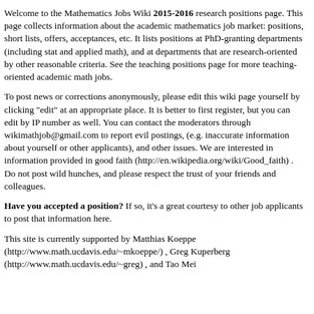Welcome to the Mathematics Jobs Wiki 2015-2016 research positions page. This page collects information about the academic mathematics job market: positions, short lists, offers, acceptances, etc. It lists positions at PhD-granting departments (including stat and applied math), and at departments that are research-oriented by other reasonable criteria. See the teaching positions page for more teaching-oriented academic math jobs.
To post news or corrections anonymously, please edit this wiki page yourself by clicking "edit" at an appropriate place. It is better to first register, but you can edit by IP number as well. You can contact the moderators through wikimathjob@gmail.com to report evil postings, (e.g. inaccurate information about yourself or other applicants), and other issues. We are interested in information provided in good faith (http://en.wikipedia.org/wiki/Good_faith) . Do not post wild hunches, and please respect the trust of your friends and colleagues.
Have you accepted a position? If so, it's a great courtesy to other job applicants to post that information here.
This site is currently supported by Matthias Koeppe (http://www.math.ucdavis.edu/~mkoeppe/) , Greg Kuperberg (http://www.math.ucdavis.edu/~greg) , and Tao Mei